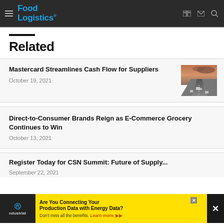Food Logistics
Related
Mastercard Streamlines Cash Flow for Suppliers
October 19, 2021
[Figure (photo): Aerial view of highway with trucks at sunset]
Direct-to-Consumer Brands Reign as E-Commerce Grocery Continues to Win
October 13, 2021
Register Today for CSN Summit: Future of Supply...
September 22, 2021
[Figure (infographic): Advertisement banner: Are You Connecting Your Production Data with Energy Data? ndustrial. Don't miss all the benefits. Learn more.]